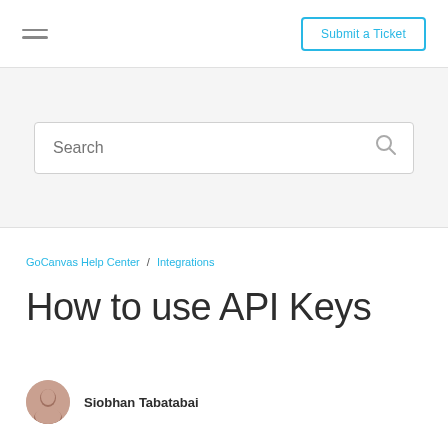Submit a Ticket
[Figure (screenshot): Search bar with placeholder text 'Search' and a search icon on the right]
GoCanvasHelpCenter / Integrations
How to use API Keys
Siobhan Tabatabai